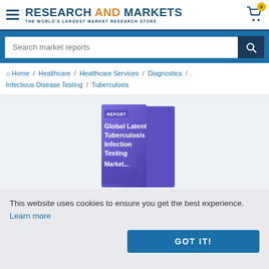RESEARCH AND MARKETS - THE WORLD'S LARGEST MARKET RESEARCH STORE
Search market reports
Home / Healthcare / Healthcare Services / Diagnostics / Infectious Disease Testing / Tuberculosis
[Figure (photo): Book cover of 'Global Latent Tuberculosis Infection Testing Market' report with purple/blue gradient design]
This website uses cookies to ensure you get the best experience. Learn more
GOT IT!